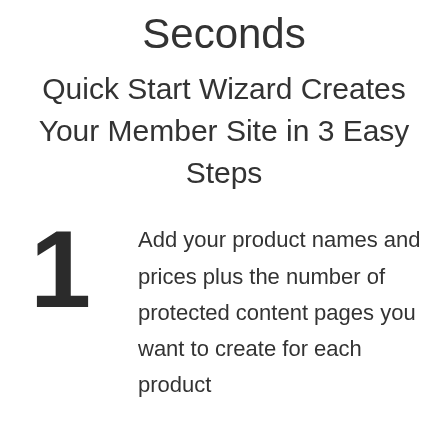Seconds
Quick Start Wizard Creates Your Member Site in 3 Easy Steps
1 Add your product names and prices plus the number of protected content pages you want to create for each product